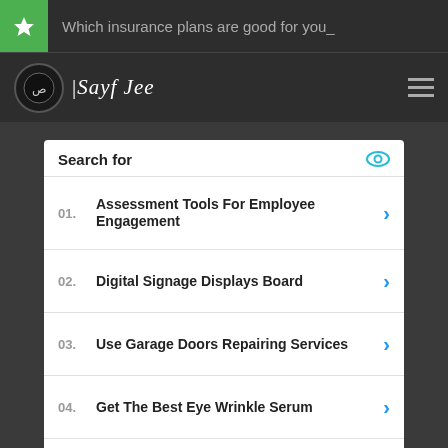Which insurance plans are good for you_
[Figure (screenshot): Sayf Jee website logo with navigation bar]
Search for
01. Assessment Tools For Employee Engagement
02. Digital Signage Displays Board
03. Use Garage Doors Repairing Services
04. Get The Best Eye Wrinkle Serum
05. Top Email Marketing Software Online
Yahoo! Search | Sponsored